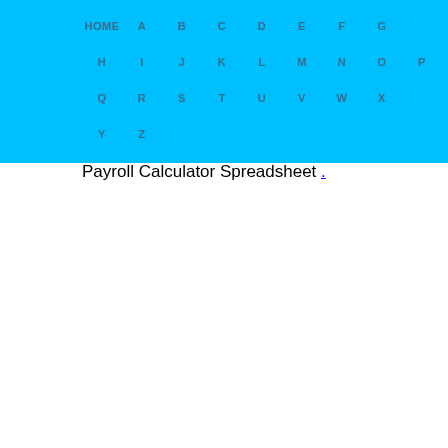HOME A B C D E F G H I J K L M N O P Q R S T U V W X Y Z
Payroll Calculator Spreadsheet .